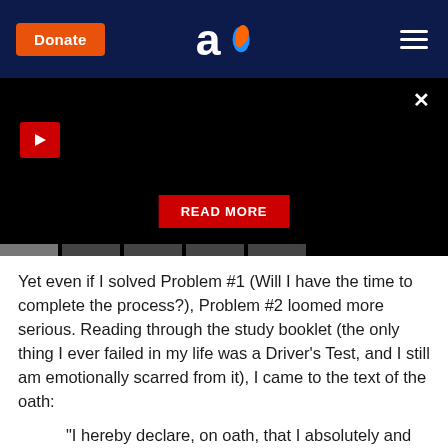Donate | [logo] | [menu]
[Figure (screenshot): Black video banner area with a red play button in upper left, an X close button in upper right, a red READ MORE button in the center-bottom area, and a row of scrubber tabs at the very bottom.]
Yet even if I solved Problem #1 (Will I have the time to complete the process?), Problem #2 loomed more serious. Reading through the study booklet (the only thing I ever failed in my life was a Driver's Test, and I still am emotionally scarred from it), I came to the text of the oath:
"I hereby declare, on oath, that I absolutely and entirely renounce and abjure all